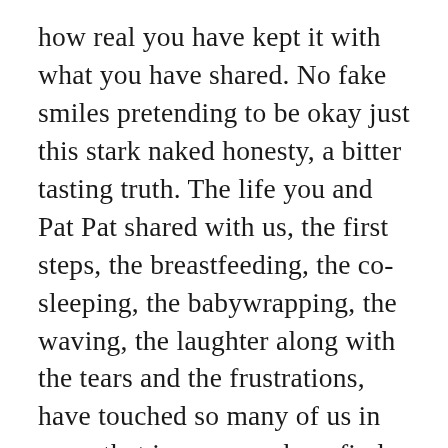how real you have kept it with what you have shared. No fake smiles pretending to be okay just this stark naked honesty, a bitter tasting truth. The life you and Pat Pat shared with us, the first steps, the breastfeeding, the co-sleeping, the babywrapping, the waving, the laughter along with the tears and the frustrations, have touched so many of us in ways that i pray somehow find a way to wrap themselves around your heart at night, when your eyes are wet, your breasts are full and your grief so great and